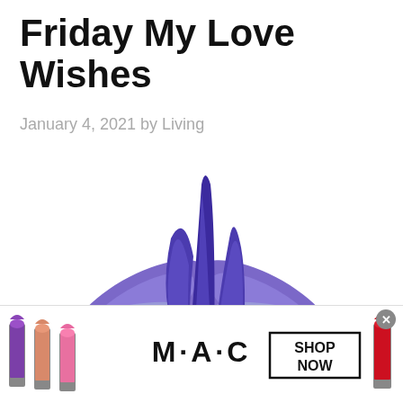Friday My Love Wishes
January 4, 2021 by Living
[Figure (photo): Close-up photo of a purple iris flower with yellow center on a white background]
[Figure (photo): MAC Cosmetics advertisement showing several lipsticks in purple, pink and red shades alongside MAC logo and SHOP NOW button]